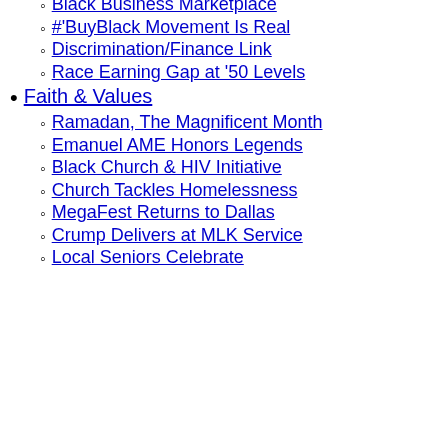Gaps
VC Firms Lacking Diversity
Black Business Marketplace
#'BuyBlack Movement Is Real
Discrimination/Finance Link
Race Earning Gap at '50 Levels
Faith & Values
Ramadan, The Magnificent Month
Emanuel AME Honors Legends
Black Church & HIV Initiative
Church Tackles Homelessness
MegaFest Returns to Dallas
Crump Delivers at MLK Service
Local Seniors Celebrate